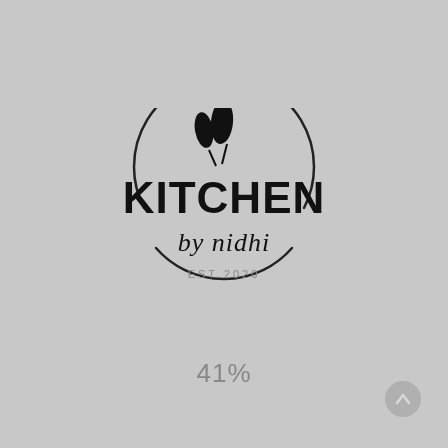[Figure (logo): Kitchen by Nidhi logo: circular border with two leaf icons at top, bold text KITCHEN, cursive script 'by nidhi', and EST 2020 at bottom]
41%
[Figure (illustration): Small circular navigation arrow icon in bottom-right corner]